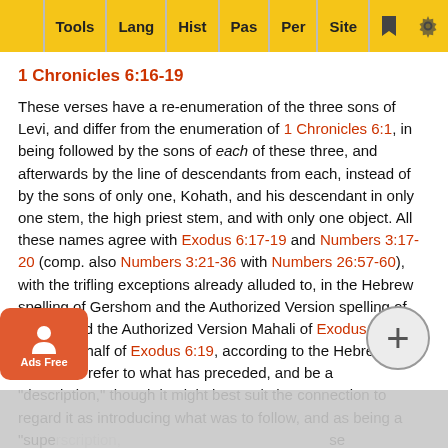Tools | Lang | Hist | Pas | Per | Site
1 Chronicles 6:16-19
These verses have a re-enumeration of the three sons of Levi, and differ from the enumeration of 1 Chronicles 6:1, in being followed by the sons of each of these three, and afterwards by the line of descendants from each, instead of by the sons of only one, Kohath, and his descendant in only one stem, the high priest stem, and with only one object. All these names agree with Exodus 6:17-19 and Numbers 3:17-20 (comp. also Numbers 3:21-36 with Numbers 26:57-60), with the trifling exceptions already alluded to, in the Hebrew spelling of Gershom and the Authorized Version spelling of Shimei and the Authorized Version Mahali of Exodus 6:19. The latter half of Exodus 6:19, according to the Hebrew, would rather refer to what has preceded, and be a "description," though it might best suit the connection to regard it as introducing what was to follow, and as being a "superscription," though it might best suit ... these views